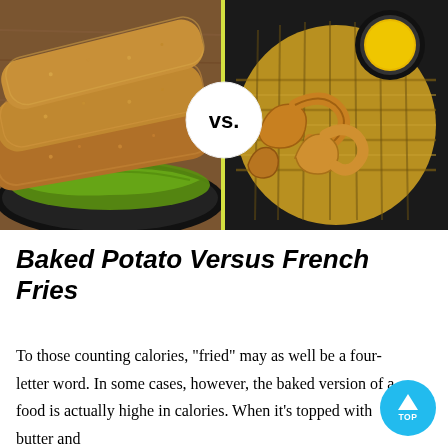[Figure (photo): Split image showing egg rolls on a black plate with lettuce on the left, and soft pretzels in a wicker basket with mustard dipping sauce on the right, with a yellow 'vs.' circle divider in the center.]
Baked Potato Versus French Fries
To those counting calories, "fried" may as well be a four-letter word. In some cases, however, the baked version of a food is actually highe in calories. When it's topped with butter and